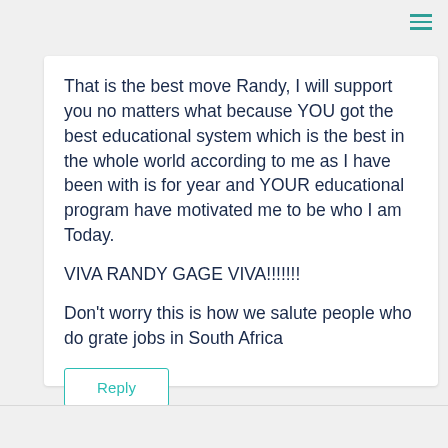[Figure (other): Hamburger menu icon (three horizontal teal lines) in top-right corner]
That is the best move Randy, I will support you no matters what because YOU got the best educational system which is the best in the whole world according to me as I have been with is for year and YOUR educational program have motivated me to be who I am Today.
VIVA RANDY GAGE VIVA!!!!!!!
Don't worry this is how we salute people who do grate jobs in South Africa
Reply